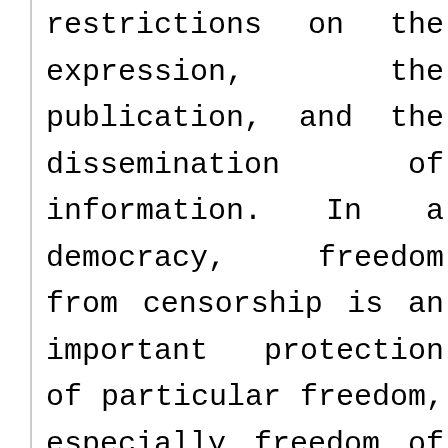restrictions on the expression, the publication, and the dissemination of information. In a democracy, freedom from censorship is an important protection of particular freedom, especially freedom of speech and freedom of the press. Censorship and the